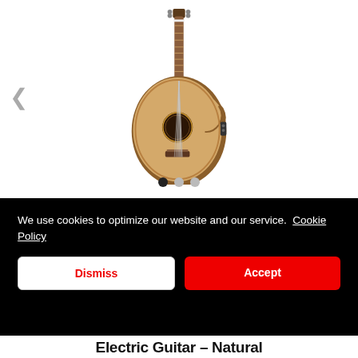[Figure (photo): Acoustic-electric guitar with natural finish, cutaway body style, shown on white background with left and right navigation arrows and three dot indicators below]
We use cookies to optimize our website and our service. Cookie Policy
Dismiss
Accept
Electric Guitar – Natural